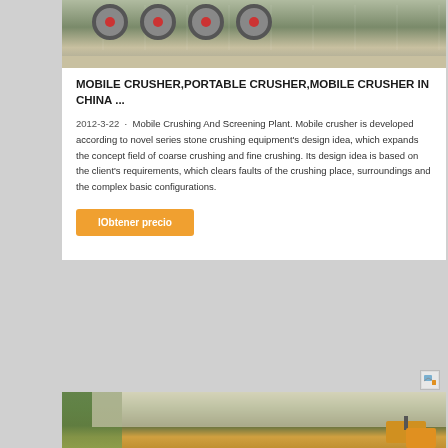[Figure (photo): Industrial mobile crusher machinery with large red wheels/pulleys visible, outdoor setting]
MOBILE CRUSHER,PORTABLE CRUSHER,MOBILE CRUSHER IN CHINA ...
2012-3-22  ·  Mobile Crushing And Screening Plant. Mobile crusher is developed according to novel series stone crushing equipment's design idea, which expands the concept field of coarse crushing and fine crushing. Its design idea is based on the client's requirements, which clears faults of the crushing place, surroundings and the complex basic configurations.
lObtener precio
[Figure (photo): Mobile crusher or screening equipment operating outdoors with dust visible, trees in background, yellow machinery]